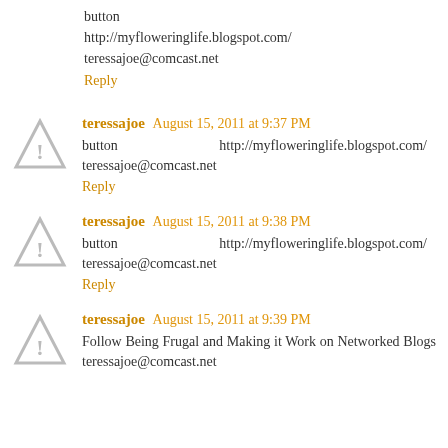button    http://myfloweringlife.blogspot.com/
teressajoe@comcast.net
Reply
teressajoe  August 15, 2011 at 9:37 PM
button    http://myfloweringlife.blogspot.com/
teressajoe@comcast.net
Reply
teressajoe  August 15, 2011 at 9:38 PM
button    http://myfloweringlife.blogspot.com/
teressajoe@comcast.net
Reply
teressajoe  August 15, 2011 at 9:39 PM
Follow Being Frugal and Making it Work on Networked Blogs teressajoe@comcast.net